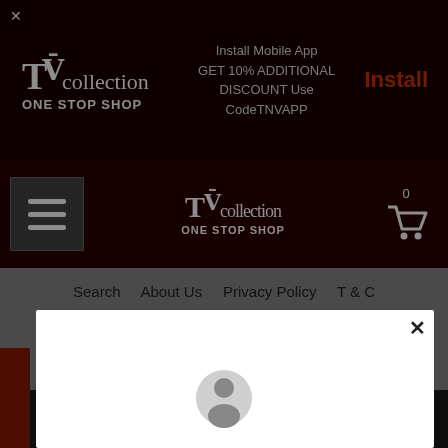Install Mobile App GET 10% ADDITIONAL DISCOUNT Use CodeTNVAPP | Install
[Figure (logo): TV Collection ONE STOP SHOP logo in white on dark red background]
[Figure (logo): TV Collection ONE STOP SHOP logo centered in dark red navigation bar with hamburger menu and cart icon]
Search  About Us  Privacy Policy  T & C
Refund Policy  Contact Us  Terms Of Service
[Figure (screenshot): White modal dialog box with close X button overlaying the page content]